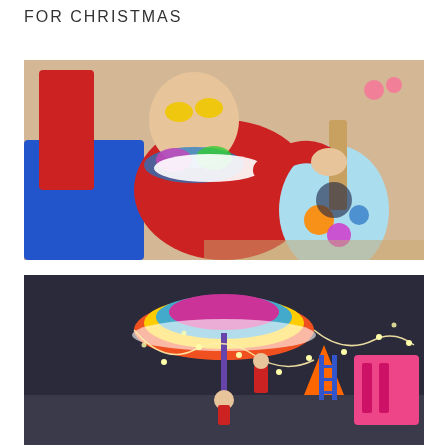FOR CHRISTMAS
[Figure (photo): An Elf on the Shelf doll wearing yellow sunglasses and a colorful floral lei, sitting in a red beach chair and playing a light blue ukulele decorated with flowers, set against a sandy beach background with small crab figures.]
[Figure (photo): An Elf on the Shelf scene with a colorful umbrella decorated with fairy lights, a small elf figure underneath it, a pink beach chair, and other beach accessories arranged on a dark surface.]